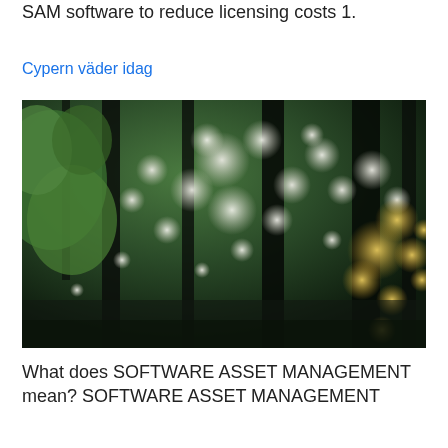SAM software to reduce licensing costs 1.
Cypern väder idag
[Figure (photo): Blurred bokeh photo looking up through tree canopy with sunlight filtering through leaves, dark tree trunks visible, green and white tones with warm golden light on right side]
What does SOFTWARE ASSET MANAGEMENT mean? SOFTWARE ASSET MANAGEMENT